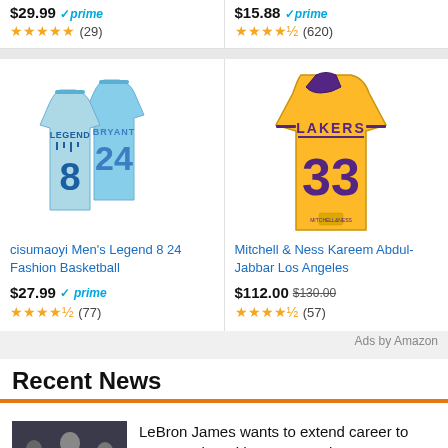$29.99 prime ★★★★★ (29)
$15.88 prime ★★★★½ (620)
[Figure (photo): Two light blue basketball jerseys with number 8 and 24, Legend/Bryant]
cisumaoyi Men's Legend 8 24 Fashion Basketball
$27.99 prime ★★★★½ (77)
[Figure (photo): Gold Lakers jersey with number 33]
Mitchell & Ness Kareem Abdul-Jabbar Los Angeles
$112.00 $130.00 ★★★★½ (57)
Ads by Amazon
Recent News
[Figure (photo): Group of people including LeBron James]
LeBron James wants to extend career to 2027 to play with Bronny and Bryce